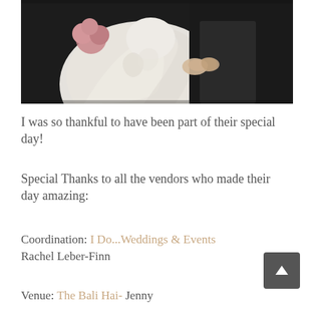[Figure (photo): A wedding photo showing a bride in a white satin gown holding a pink bouquet and a groom in a dark suit holding hands, cropped to show torsos and hands against a dark background.]
I was so thankful to have been part of their special day!
Special Thanks to all the vendors who made their day amazing:
Coordination: I Do...Weddings & Events
Rachel Leber-Finn
Venue: The Bali Hai- Jenny